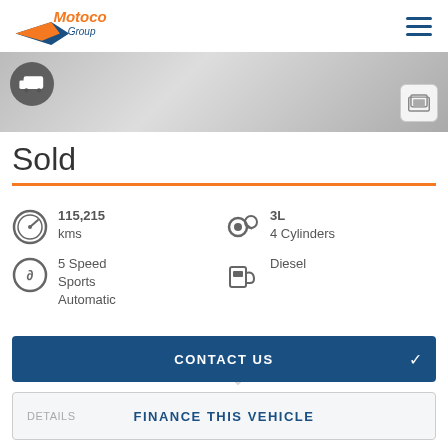[Figure (logo): Motoco Group logo with orange italic text and blue/orange arrow graphic]
[Figure (photo): Vehicle listing banner photo showing a tiled surface, with a caravan icon on the left and a gallery icon on the right]
Sold
115,215 kms
3L 4 Cylinders
5 Speed Sports Automatic
Diesel
CONTACT US
FINANCE THIS VEHICLE